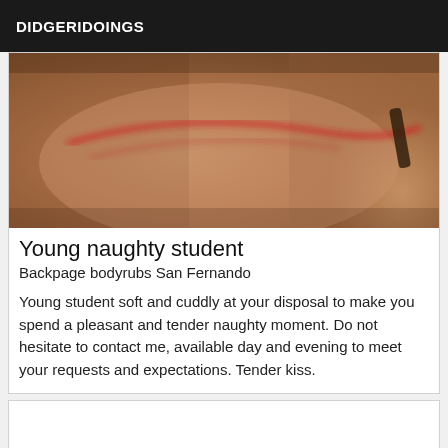DIDGERIDOINGS
[Figure (photo): Close-up blurred photo with warm tan/skin tones and a curved red/pink line visible]
Young naughty student
Backpage bodyrubs San Fernando
Young student soft and cuddly at your disposal to make you spend a pleasant and tender naughty moment. Do not hesitate to contact me, available day and evening to meet your requests and expectations. Tender kiss.